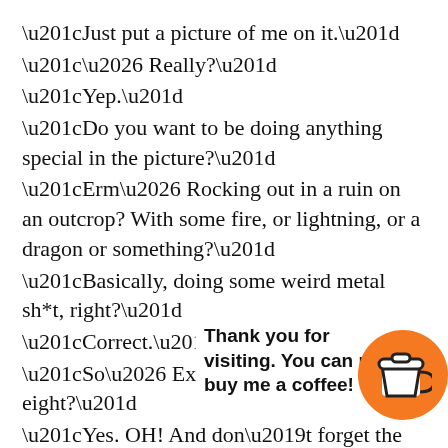“Just put a picture of me on it.” “… Really?” “Yep.” “Do you want to be doing anything special in the picture?” “Erm… Rocking out in a ruin on an outcrop? With some fire, or lightning, or a dragon or something?” “Basically, doing some weird metal sh*t, right?” “Correct.” “So… Exactly the same as the last eight?” “Yes. OH! And don’t forget the duck lips.”
Finally, there’s the hair. I know it’s a staple of the genre, [hold. I am aw[are from deep w[ithin of th[e nonser[ious wd[. twiddlehike before Yngwie’s E-string grows
Thank you for visiting. You can now buy me a coffee!